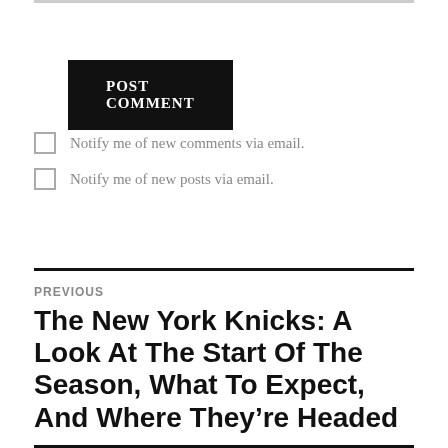POST COMMENT
Notify me of new comments via email.
Notify me of new posts via email.
PREVIOUS
The New York Knicks: A Look At The Start Of The Season, What To Expect, And Where They’re Headed